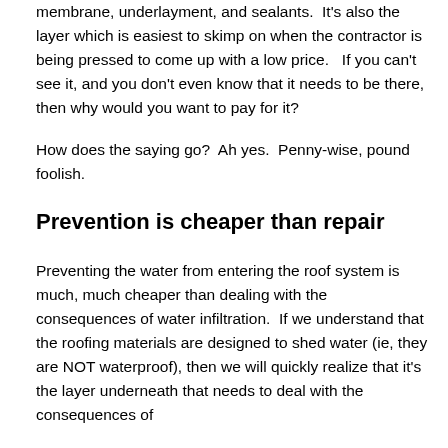membrane, underlayment, and sealants.  It's also the layer which is easiest to skimp on when the contractor is being pressed to come up with a low price.   If you can't see it, and you don't even know that it needs to be there, then why would you want to pay for it?
How does the saying go?  Ah yes.  Penny-wise, pound foolish.
Prevention is cheaper than repair
Preventing the water from entering the roof system is much, much cheaper than dealing with the consequences of water infiltration.  If we understand that the roofing materials are designed to shed water (ie, they are NOT waterproof), then we will quickly realize that it's the layer underneath that needs to deal with the consequences of